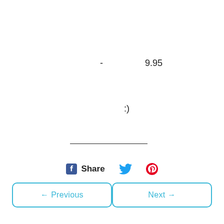-
9.95
:)
Share
← Previous
Next →